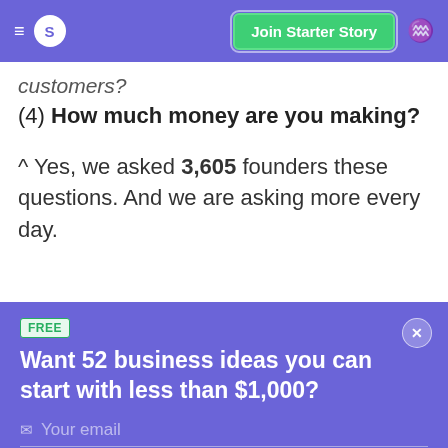S  Join Starter Story
customers?
(4) How much money are you making?
^ Yes, we asked 3,605 founders these questions. And we are asking more every day.
FREE
Want 52 business ideas you can start with less than $1,000?
Your email
Send Now